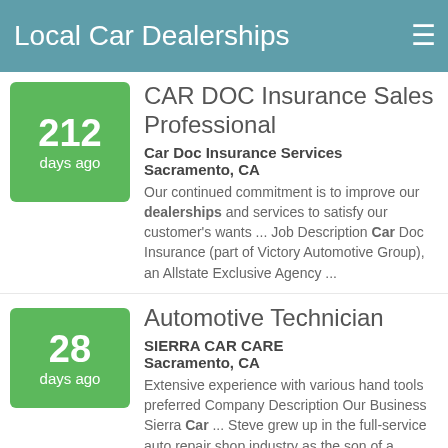Local Car Dealerships
212 days ago — CAR DOC Insurance Sales Professional — Car Doc Insurance Services — Sacramento, CA — Our continued commitment is to improve our dealerships and services to satisfy our customer's wants ... Job Description Car Doc Insurance (part of Victory Automotive Group), an Allstate Exclusive Agency ...
28 days ago — Automotive Technician — SIERRA CAR CARE — Sacramento, CA — Extensive experience with various hand tools preferred Company Description Our Business Sierra Car ... Steve grew up in the full-service auto repair shop industry as the son of a Unocal 76 Dealer in ...
Sales Up To $1000 Weekly (partial)